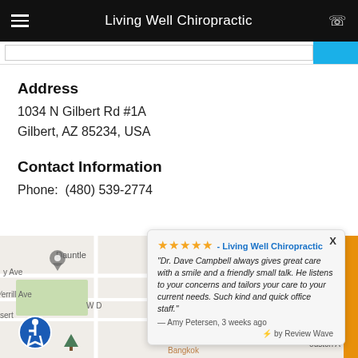Living Well Chiropractic
Address
1034 N Gilbert Rd #1A
Gilbert, AZ 85234, USA
Contact Information
Phone:  (480) 539-2774
[Figure (map): Google Maps snippet showing the area around Living Well Chiropractic in Gilbert, AZ, with street labels including y Ave, Merrill Ave, W D, Bangkok, Houston A, and a review popup overlay.]
★★★★★ - Living Well Chiropractic
"Dr. Dave Campbell always gives great care with a smile and a friendly small talk. He listens to your concerns and tailors your care to your current needs. Such kind and quick office staff."
— Amy Petersen, 3 weeks ago
by Review Wave